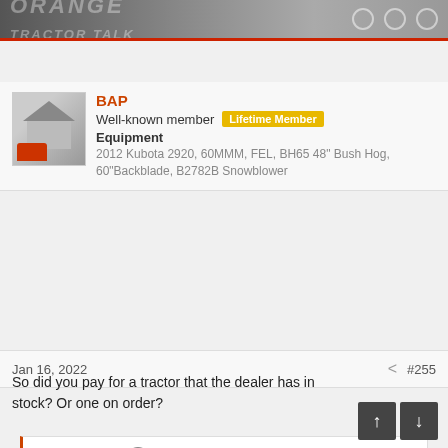ORANGE TRACTOR TALK
BAP
Well-known member  Lifetime Member
Equipment
2012 Kubota 2920, 60MMM, FEL, BH65 48" Bush Hog, 60"Backblade, B2782B Snowblower
Jan 16, 2022  #255
Plant 175 said: ↑

Well I just wrote the check out for my B2601 and it officially mine. I will have it delivered around late March to my property. Can't believe how much tractors and loaders went up after Jan 1. It doesn't seem to slow anybody down the guy I was dealing with sold 3 more tractors before 1 pm today !
So did you pay for a tractor that the dealer has in stock? Or one on order?